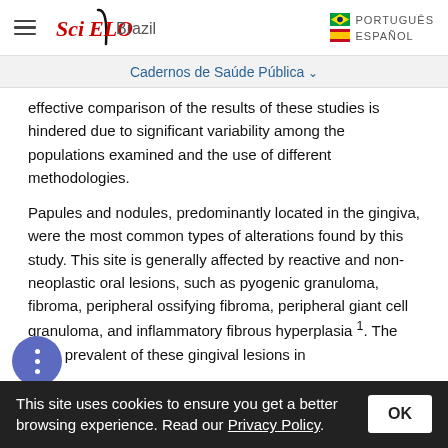SciELO Brazil — Cadernos de Saúde Pública
effective comparison of the results of these studies is hindered due to significant variability among the populations examined and the use of different methodologies.
Papules and nodules, predominantly located in the gingiva, were the most common types of alterations found by this study. This site is generally affected by reactive and non-neoplastic oral lesions, such as pyogenic granuloma, fibroma, peripheral ossifying fibroma, peripheral giant cell granuloma, and inflammatory fibrous hyperplasia 1. The most prevalent of these gingival lesions in
This site uses cookies to ensure you get a better browsing experience. Read our Privacy Policy.